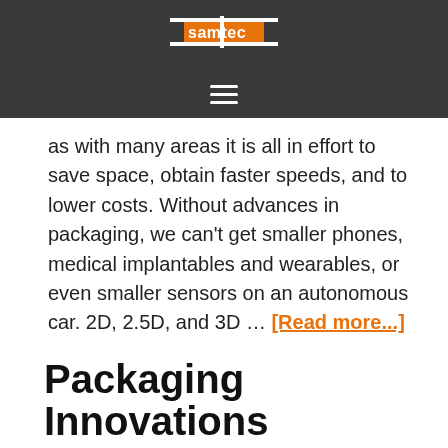samtec
as with many areas it is all in effort to save space, obtain faster speeds, and to lower costs. Without advances in packaging, we can't get smaller phones, medical implantables and wearables, or even smaller sensors on an autonomous car. 2D, 2.5D, and 3D … [Read more...]
Filed Under: IC Packaging
Packaging Innovations